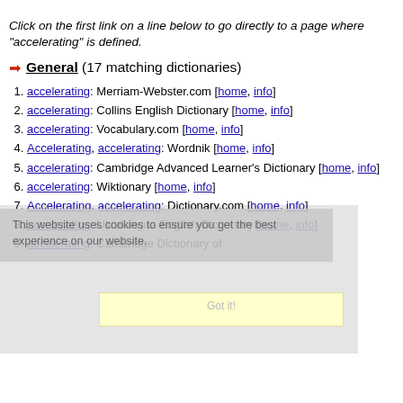Click on the first link on a line below to go directly to a page where "accelerating" is defined.
General (17 matching dictionaries)
accelerating: Merriam-Webster.com [home, info]
accelerating: Collins English Dictionary [home, info]
accelerating: Vocabulary.com [home, info]
Accelerating, accelerating: Wordnik [home, info]
accelerating: Cambridge Advanced Learner's Dictionary [home, info]
accelerating: Wiktionary [home, info]
Accelerating, accelerating: Dictionary.com [home, info]
accelerating: UltraLingua English Dictionary [home, info]
accelerating: Cambridge Dictionary of